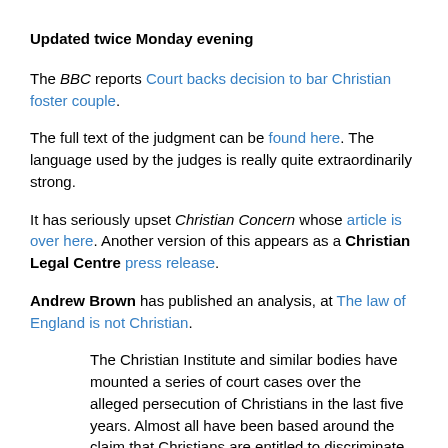Updated twice Monday evening
The BBC reports Court backs decision to bar Christian foster couple.
The full text of the judgment can be found here. The language used by the judges is really quite extraordinarily strong.
It has seriously upset Christian Concern whose article is over here. Another version of this appears as a Christian Legal Centre press release.
Andrew Brown has published an analysis, at The law of England is not Christian.
The Christian Institute and similar bodies have mounted a series of court cases over the alleged persecution of Christians in the last five years. Almost all have been based around the claim that Christians are entitled to discriminate against gay people. Each one has ended in defeat. From the cross worn by Nadia Eweida to the attempts to allow religious exemption to the registrants of civil marriage, or the